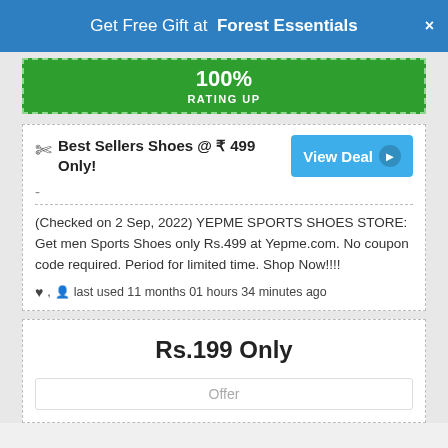Get Free Gift at Forest Essentials ×
[Figure (infographic): Green banner showing 100% RATING UP]
Best Sellers Shoes @ ₹ 499 Only!
-
(Checked on 2 Sep, 2022) YEPME SPORTS SHOES STORE: Get men Sports Shoes only Rs.499 at Yepme.com. No coupon code required. Period for limited time. Shop Now!!!!
♥ ,  last used 11 months 01 hours 34 minutes ago
Rs.199 Only
Offer